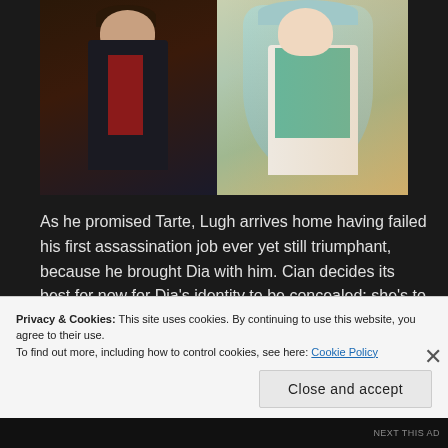[Figure (illustration): Anime-style illustration showing two characters: a dark-suited male figure on the left and a female character with long light/teal hair wearing a white and green outfit on the right, against a warm-toned background.]
As he promised Tarte, Lugh arrives home having failed his first assassination job ever yet still triumphant, because he brought Dia with him. Cian decides its best for now for Dia's identity to be concealed; she's to live with them in Tuatha Dé as Lugh's younger sister, with her shared bloodlines with Esri making it a believable lie.
Privacy & Cookies: This site uses cookies. By continuing to use this website, you agree to their use.
To find out more, including how to control cookies, see here: Cookie Policy
Close and accept